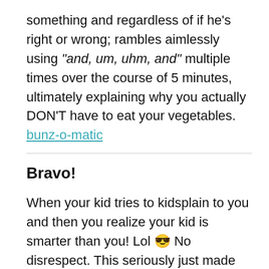something and regardless of if he's right or wrong; rambles aimlessly using "and, um, uhm, and" multiple times over the course of 5 minutes, ultimately explaining why you actually DON'T have to eat your vegetables. bunz-o-matic
Bravo!
When your kid tries to kidsplain to you and then you realize your kid is smarter than you! Lol 😎 No disrespect. This seriously just made my day. Ohsojme
TBH this sounds exactly like some crap my kid would make up so I totally get it lol! Like,